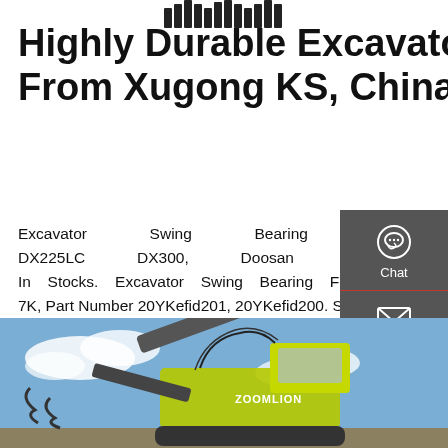[Figure (logo): Xugong logo with gear/tooth pattern at top center]
Highly Durable Excavator Swing Bearing From Xugong KS, China
Excavator Swing Bearing Slewing Circle for DX225LC DX300, Doosan Slewing Ring Wholesale In Stocks. Excavator Swing Bearing For Komatsu PC210LC-7K PC200-7K, Part Number 20YKefid201, 20YKefid200. Send Inquiry. Excavator Swing ...
[Figure (other): Get a Quote button (dark rounded rectangle)]
[Figure (photo): Zoomlion yellow excavator construction machine against blue sky background at the bottom of the page]